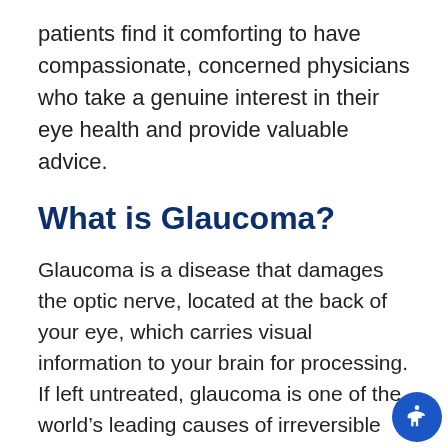patients find it comforting to have compassionate, concerned physicians who take a genuine interest in their eye health and provide valuable advice.
What is Glaucoma?
Glaucoma is a disease that damages the optic nerve, located at the back of your eye, which carries visual information to your brain for processing. If left untreated, glaucoma is one of the world’s leading causes of irreversible blindness.
There are several forms of glaucoma. The two most common are primary open-angle